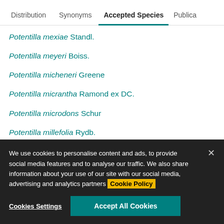Distribution | Synonyms | Accepted Species | Publica
Potentilla mexiae Standl.
Potentilla meyeri Boiss.
Potentilla micheneri Greene
Potentilla micrantha Ramond ex DC.
Potentilla microdons Schur
Potentilla millefolia Rydb.
Potentilla × mixta Nolte ex Rchb.
We use cookies to personalise content and ads, to provide social media features and to analyse our traffic. We also share information about your use of our site with our social media, advertising and analytics partners Cookie Policy